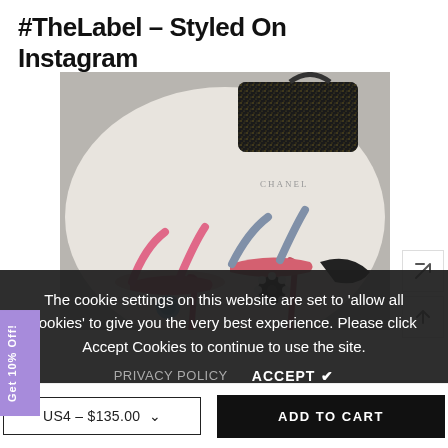#TheLabel – Styled On Instagram
[Figure (photo): Flat-lay photo of two pairs of heeled mule sandals with jewel embellishments (pink and blue/black) alongside a black glitter clutch bag on a white marble surface.]
The cookie settings on this website are set to 'allow all cookies' to give you the very best experience. Please click Accept Cookies to continue to use the site.
PRIVACY POLICY   ACCEPT ✔
US4 – $135.00
ADD TO CART
Get 10% Off!